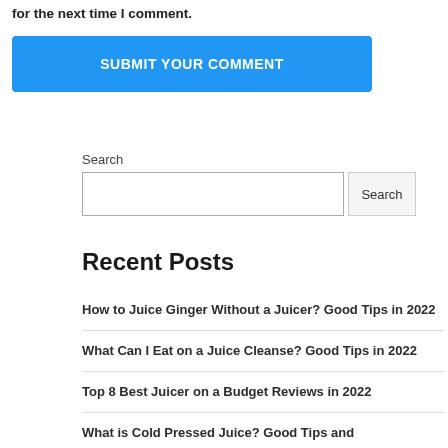for the next time I comment.
SUBMIT YOUR COMMENT
Search
Recent Posts
How to Juice Ginger Without a Juicer? Good Tips in 2022
What Can I Eat on a Juice Cleanse? Good Tips in 2022
Top 8 Best Juicer on a Budget Reviews in 2022
What is Cold Pressed Juice? Good Tips and